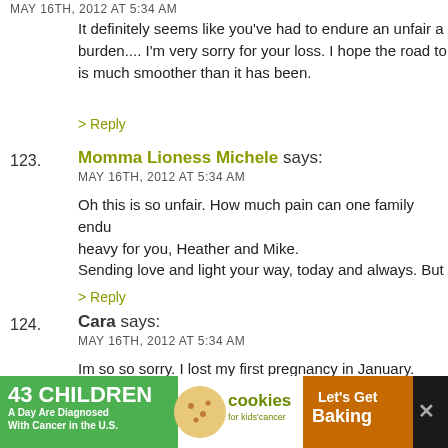MAY 16TH, 2012 AT 5:34 AM
It definitely seems like you've had to endure an unfair a burden.... I'm very sorry for your loss. I hope the road to is much smoother than it has been.
> Reply
123. Momma Lioness Michele says: MAY 16TH, 2012 AT 5:34 AM
Oh this is so unfair. How much pain can one family endu heavy for you, Heather and Mike. Sending love and light your way, today and always. But
> Reply
124. Cara says: MAY 16TH, 2012 AT 5:34 AM
Im so so sorry. I lost my first pregnancy in January. Ther make it better. Time helps. Take good care of yourself ar not alone!
[Figure (other): Advertisement banner: 43 Children A Day Are Diagnosed With Cancer in the U.S. / cookies for kids' cancer / Let's Get Baking]